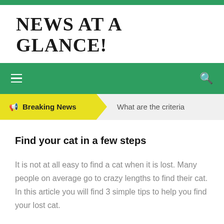NEWS AT A GLANCE!
[Figure (screenshot): Green navigation bar with hamburger menu icon on left and search icon on right]
Breaking News  What are the criteria
Find your cat in a few steps
It is not at all easy to find a cat when it is lost. Many people on average go to crazy lengths to find their cat. In this article you will find 3 simple tips to help you find your lost cat.